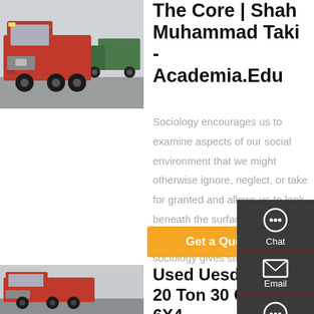[Figure (photo): Red HOWO truck parked in a lot, front-left view]
The Core | Shah Muhammad Taki - Academia.Edu
Sociology encourages us to examine aspects of our social environment that we might otherwise ignore, neglect, or take for granted and allows us to look beneath the surface of everyday life. The introductory course in sociology gives students the...
Get a Quote
[Figure (photo): Red HOWO truck, second listing image]
Used Uesd HOWO 20 Ton 30 Cubic 6X4...